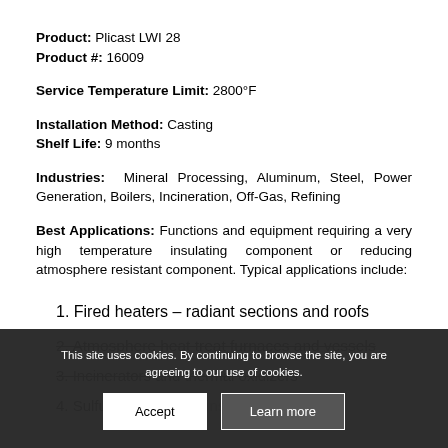Product: Plicast LWI 28
Product #: 16009
Service Temperature Limit: 2800°F
Installation Method: Casting
Shelf Life: 9 months
Industries: Mineral Processing, Aluminum, Steel, Power Generation, Boilers, Incineration, Off-Gas, Refining
Best Applications: Functions and equipment requiring a very high temperature insulating component or reducing atmosphere resistant component. Typical applications include:
1. Fired heaters – radiant sections and roofs
2. Atmosphere heat treat furnaces and vessels
3. Incinerators and thermal oxidizers
4. Sulfur recovery unit insulation